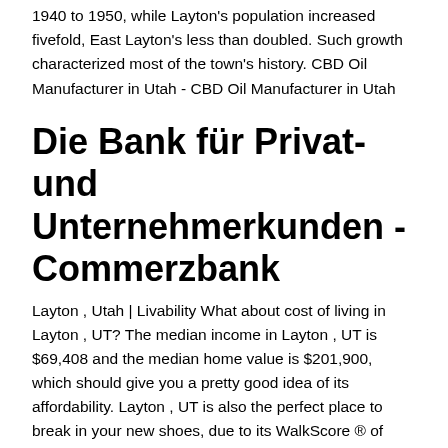1940 to 1950, while Layton's population increased fivefold, East Layton's less than doubled. Such growth characterized most of the town's history. CBD Oil Manufacturer in Utah - CBD Oil Manufacturer in Utah
Die Bank für Privat- und Unternehmerkunden - Commerzbank
Layton , Utah | Livability What about cost of living in Layton , UT? The median income in Layton , UT is $69,408 and the median home value is $201,900, which should give you a pretty good idea of its affordability. Layton , UT is also the perfect place to break in your new shoes, due to its WalkScore ® of 27.8745. CBD Öl - für Ihre Gesundheit - CBD VITAL CBD Öl besitzt viele positive, gesundheitsfördernde und heilende Eigenschaften. Probieren Sie unser natürliches Bio CBD-Öl. 100% aus Österreich & legal. Layton Parkway Clinic | Layton